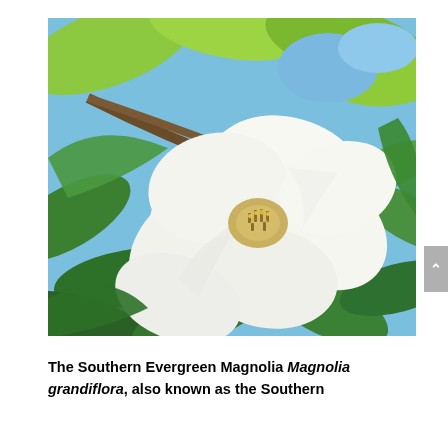[Figure (photo): Close-up photograph of a large white Southern Evergreen Magnolia flower (Magnolia grandiflora) blooming among bright green leaves with a blue sky visible in the background.]
The Southern Evergreen Magnolia Magnolia grandiflora, also known as the Southern